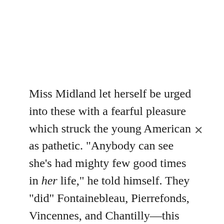Miss Midland let herself be urged into these with a fearful pleasure which struck the young American as pathetic. "Anybody can see she's had mighty few good times in her life," he told himself. They "did" Fontainebleau, Pierrefonds, Vincennes, and Chantilly—this last expedition coming in the first week of May, ten days before Miss Midland was to leave Paris. They were again favored by wonderfully fine spring weather, so warm that the girl appeared in a light-colored cotton gown and a straw hat which, as her friend told her, with the familiarity born of a month of almost uninterrupted common life, made her look "for all the world like a picture."